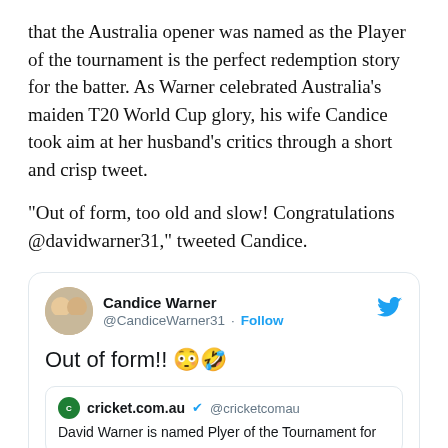that the Australia opener was named as the Player of the tournament is the perfect redemption story for the batter. As Warner celebrated Australia's maiden T20 World Cup glory, his wife Candice took aim at her husband's critics through a short and crisp tweet.
"Out of form, too old and slow! Congratulations @davidwarner31," tweeted Candice.
[Figure (screenshot): Screenshot of a tweet by Candice Warner (@CandiceWarner31) saying 'Out of form!! 😳🤣', with a quoted tweet from cricket.com.au (@cricketcomau) saying 'David Warner is named Player of the Tournament for']